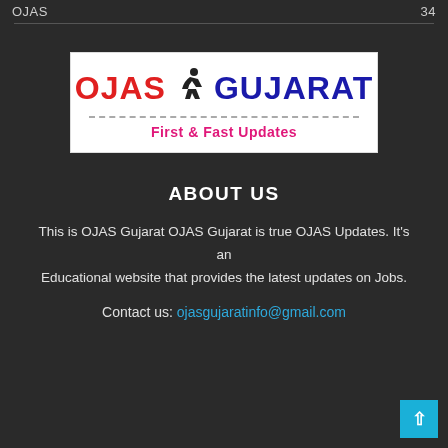OJAS   34
[Figure (logo): OJAS Gujarat logo with running figure icon. Text reads 'OJAS GUJARAT' with tagline 'First & Fast Updates']
ABOUT US
This is OJAS Gujarat OJAS Gujarat is true OJAS Updates. It's an Educational website that provides the latest updates on Jobs.
Contact us: ojasgujaratinfo@gmail.com